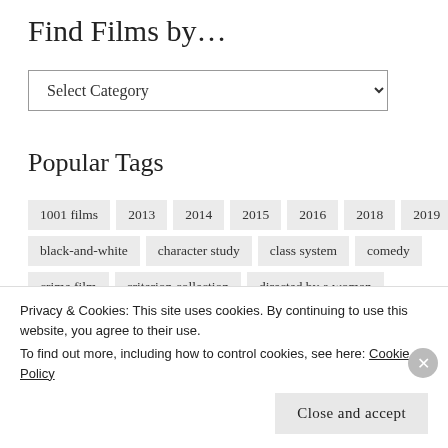Find Films by…
Select Category
Popular Tags
1001 films
2013
2014
2015
2016
2018
2019
black-and-white
character study
class system
comedy
crime film
criterion collection
directed by a woman
documentary
drama
england
family drama
film reviews
films seen at home
films seen at the cinema
Privacy & Cookies: This site uses cookies. By continuing to use this website, you agree to their use.
To find out more, including how to control cookies, see here: Cookie Policy
Close and accept